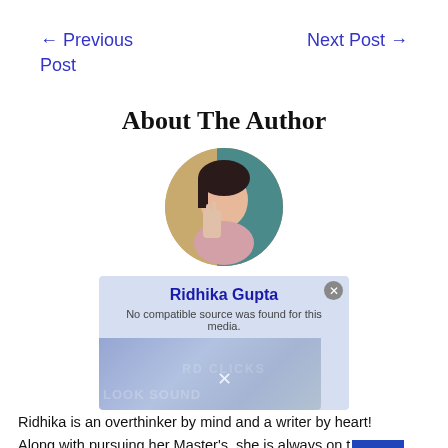← Previous Post
Next Post →
About The Author
[Figure (photo): Circular author photo of Ridhika Gupta making a peace sign, with teal/blue background and warm ambient lighting.]
Ridhika Gupta
No compatible source was found for this media.
Ridhika is an overthinker by mind and a writer by heart!
Along with pursuing her Master's, she is always on t[obscured]